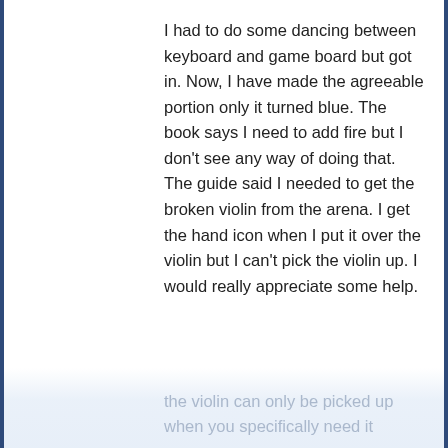I had to do some dancing between keyboard and game board but got in. Now, I have made the agreeable portion only it turned blue. The book says I need to add fire but I don't see any way of doing that. The guide said I needed to get the broken violin from the arena. I get the hand icon when I put it over the violin but I can't pick the violin up. I would really appreciate some help.
[Figure (other): Reply arrow icon pointing right-upward]
CREW badge, Dora [icon] • April 14, 2016 7:46 AM replied to Teluria
Sorry, Teluria, but I don't have the save for this game any longer. Hopefully another reader can help you! :( Doing a search online, it looks like the violin can only be picked up when you specifically need it